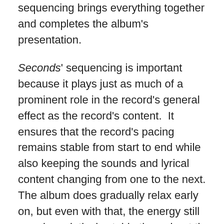sequencing brings everything together and completes the album's presentation.
Seconds' sequencing is important because it plays just as much of a prominent role in the record's general effect as the record's content.  It ensures that the record's pacing remains stable from start to end while also keeping the sounds and lyrical content changing from one to the next.  The album does gradually relax early on, but even with that, the energy still remains relatively stable throughout the album.  Meanwhile, the arrangements change in sound and style as do the lyrical topics change so steadily.  Keeping all of that in mind, the record's sequencing proves important because of the stability that it ensures throughout the record's 30-minute-plus run time.  When the record's sequencing is considered along with its content, the whole makes the record in whole a fun